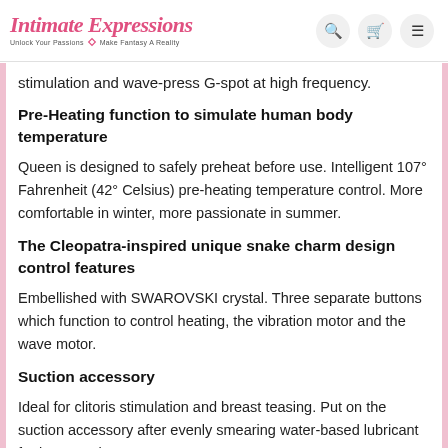Intimate Expressions — Unlock Your Passions · Make Fantasy A Reality
stimulation and wave-press G-spot at high frequency.
Pre-Heating function to simulate human body temperature
Queen is designed to safely preheat before use. Intelligent 107° Fahrenheit (42° Celsius) pre-heating temperature control. More comfortable in winter, more passionate in summer.
The Cleopatra-inspired unique snake charm design control features
Embellished with SWAROVSKI crystal. Three separate buttons which function to control heating, the vibration motor and the wave motor.
Suction accessory
Ideal for clitoris stimulation and breast teasing. Put on the suction accessory after evenly smearing water-based lubricant for best results.